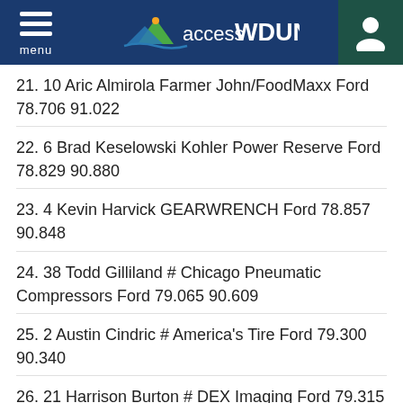accessWDUN
21. 10 Aric Almirola Farmer John/FoodMaxx Ford 78.706 91.022
22. 6 Brad Keselowski Kohler Power Reserve Ford 78.829 90.880
23. 4 Kevin Harvick GEARWRENCH Ford 78.857 90.848
24. 38 Todd Gilliland # Chicago Pneumatic Compressors Ford 79.065 90.609
25. 2 Austin Cindric # America's Tire Ford 79.300 90.340
26. 21 Harrison Burton # DEX Imaging Ford 79.315 90.322